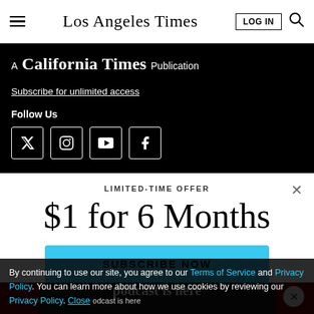Los Angeles Times — LOG IN — navigation bar
A California Times Publication
Subscribe for unlimited access
Follow Us
[Figure (screenshot): Social media icons (Twitter/X, Instagram, YouTube, Facebook) in white-bordered boxes on black background]
LIMITED-TIME OFFER
$1 for 6 Months
SUBSCRIBE NOW
By continuing to use our site, you agree to our Terms of Service and Privacy Policy. You can learn more about how we use cookies by reviewing our Privacy Policy.
Close
Season 3 of The Times' go-to podcast is here